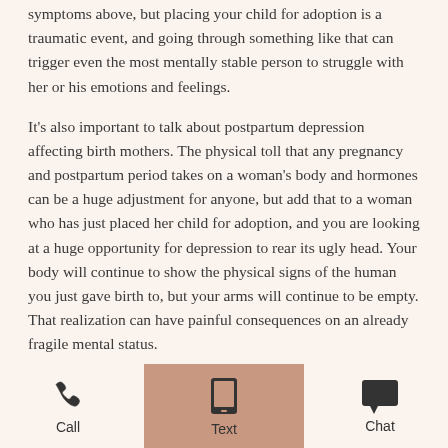symptoms above, but placing your child for adoption is a traumatic event, and going through something like that can trigger even the most mentally stable person to struggle with her or his emotions and feelings.
It's also important to talk about postpartum depression affecting birth mothers. The physical toll that any pregnancy and postpartum period takes on a woman's body and hormones can be a huge adjustment for anyone, but add that to a woman who has just placed her child for adoption, and you are looking at a huge opportunity for depression to rear its ugly head. Your body will continue to show the physical signs of the human you just gave birth to, but your arms will continue to be empty. That realization can have painful consequences on an already fragile mental status.
[Figure (infographic): Bottom navigation bar with three items: Call (phone icon), Text (mobile phone icon, highlighted with tan background), Chat (speech bubble icon)]